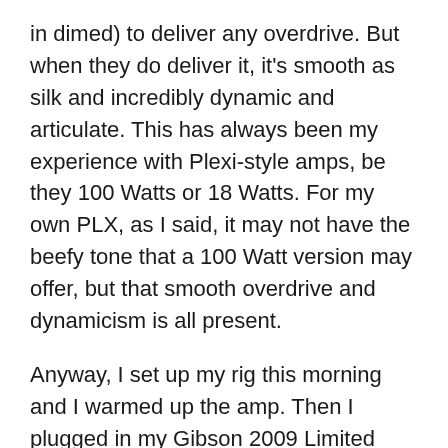in dimed) to deliver any overdrive. But when they do deliver it, it's smooth as silk and incredibly dynamic and articulate. This has always been my experience with Plexi-style amps, be they 100 Watts or 18 Watts. For my own PLX, as I said, it may not have the beefy tone that a 100 Watt version may offer, but that smooth overdrive and dynamicism is all present.
Anyway, I set up my rig this morning and I warmed up the amp. Then I plugged in my Gibson 2009 Limited Run Nighthawk, and started playing some warm-up scales. I hadn't played my PLX for awhile, and running through my warm-up, I was reminded about how damn good that amp sounds! As Jeff Aragaki (Aracom's owner) puts it, “It doesn't matter what wattage the amp is. You just know a great amp when you play and hear it. And Marshall got